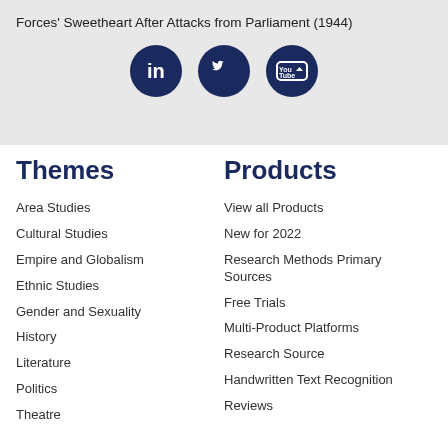Forces' Sweetheart After Attacks from Parliament (1944)
[Figure (illustration): Three social media icons: LinkedIn, Twitter, YouTube in dark navy circles]
Themes
Area Studies
Cultural Studies
Empire and Globalism
Ethnic Studies
Gender and Sexuality
History
Literature
Politics
Theatre
Products
View all Products
New for 2022
Research Methods Primary Sources
Free Trials
Multi-Product Platforms
Research Source
Handwritten Text Recognition
Reviews